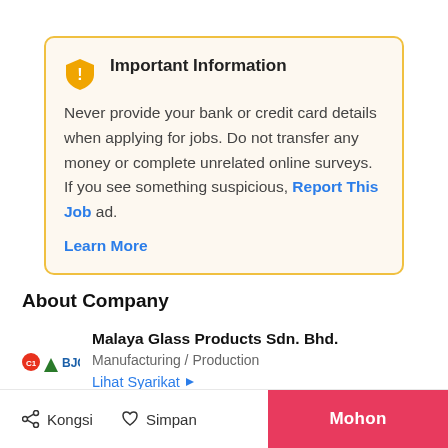Important Information
Never provide your bank or credit card details when applying for jobs. Do not transfer any money or complete unrelated online surveys. If you see something suspicious, Report This Job ad.
Learn More
About Company
Malaya Glass Products Sdn. Bhd.
Manufacturing / Production
Lihat Syarikat ▶
Kongsi   Simpan   Mohon